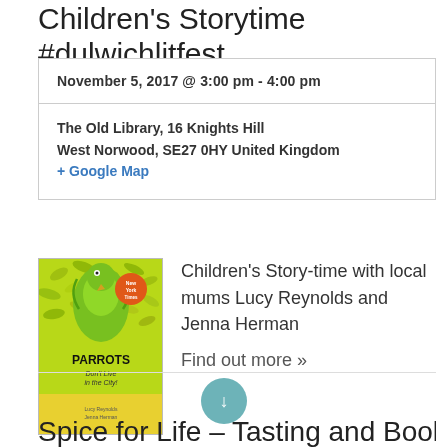Children's Storytime #dulwichlitfest
November 5, 2017 @ 3:00 pm - 4:00 pm
The Old Library, 16 Knights Hill
West Norwood, SE27 0HY United Kingdom
+ Google Map
[Figure (illustration): Book cover for 'Parrots Don't Live in the City!' with green illustrated parrot and foliage design, orange circular badge, yellow bottom strip]
Children's Story-time with local mums Lucy Reynolds and Jenna Herman
Find out more »
[Figure (other): Teal circular button with arrow pointing down]
Spice for Life – Tasting and Book…